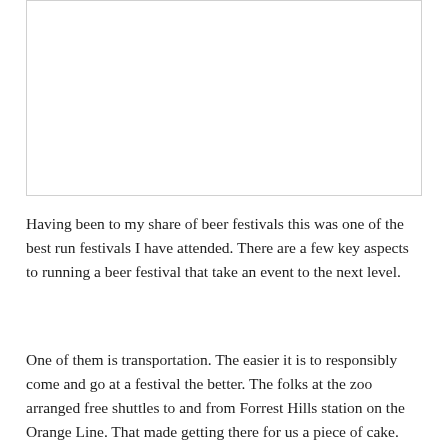[Figure (photo): A photo placeholder area at the top of the page, shown as a white rectangle with a light border.]
Having been to my share of beer festivals this was one of the best run festivals I have attended. There are a few key aspects to running a beer festival that take an event to the next level.
One of them is transportation. The easier it is to responsibly come and go at a festival the better. The folks at the zoo arranged free shuttles to and from Forrest Hills station on the Orange Line. That made getting there for us a piece of cake. We took the Commuter Rail to North Station, where we